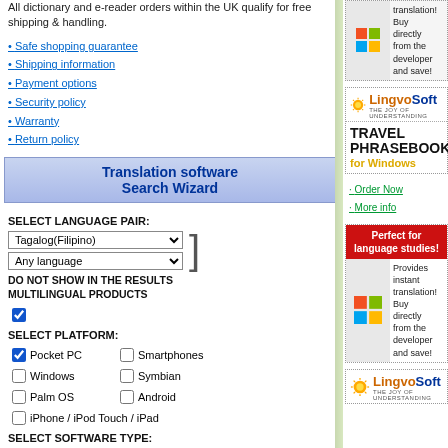All dictionary and e-reader orders within the UK qualify for free shipping & handling.
Safe shopping guarantee
Shipping information
Payment options
Security policy
Warranty
Return policy
Translation software Search Wizard
SELECT LANGUAGE PAIR:
DO NOT SHOW IN THE RESULTS MULTILINGUAL PRODUCTS
SELECT PLATFORM:
Pocket PC, Smartphones, Windows, Symbian, Palm OS, Android, iPhone / iPod Touch / iPad
SELECT SOFTWARE TYPE:
Suite, Dictionary, FlashCards, Phrasebook, Language Support, Handheld Evaluator
[Figure (logo): LingvoSoft logo with sun icon and 'THE JOY OF UNDERSTANDING' tagline]
TRAVEL PHRASEBOOK for Windows
Order Now
More info
Perfect for language studies!
Provides instant translation! Buy directly from the developer and save!
[Figure (logo): LingvoSoft logo at bottom with sun icon and THE JOY OF UNDERSTANDING tagline]